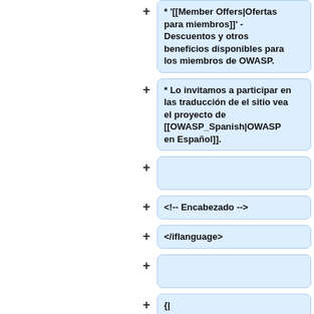* '"[[Member Offers|Ofertas para miembros]]"' - Descuentos y otros beneficios disponibles para los miembros de OWASP.
* Lo invitamos a participar en las traducción de el sitio vea el proyecto de [[OWASP_Spanish|OWASP en Español]].
<!-- Encabezado -->
</iflanguage>
{|
class="FCK__ShowTableBorders" style="border: 1px solid rgb(204, 204, 204);